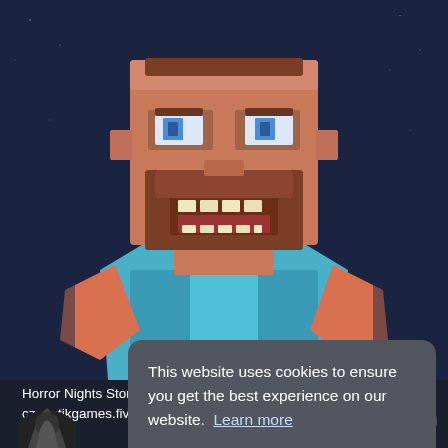[Figure (screenshot): 3D blocky/voxel-style character with large brown beard, blue armor, open mouth expression, on a dark starry background. Game app artwork for Horror Nights Story.]
Horror Nights Story By Rostislav Kaloc v1.9.1 cz.rostikgames.fivenights Minium iOS Version: 7.0 Price: Free La... htt... sto...
This website uses cookies to ensure you get the best experience on our website.  Learn more
Got it!